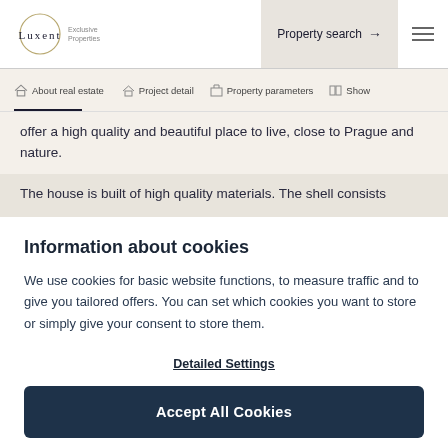Luxent | Exclusive Properties — Property search
About real estate | Project detail | Property parameters | Show
offer a high quality and beautiful place to live, close to Prague and nature.
The house is built of high quality materials. The shell consists
Information about cookies
We use cookies for basic website functions, to measure traffic and to give you tailored offers. You can set which cookies you want to store or simply give your consent to store them.
Detailed Settings
Accept All Cookies